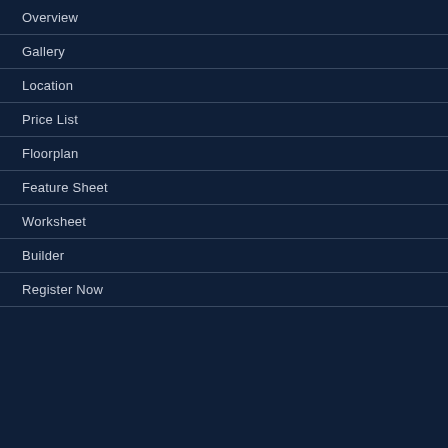Overview
Gallery
Location
Price List
Floorplan
Feature Sheet
Worksheet
Builder
Register Now